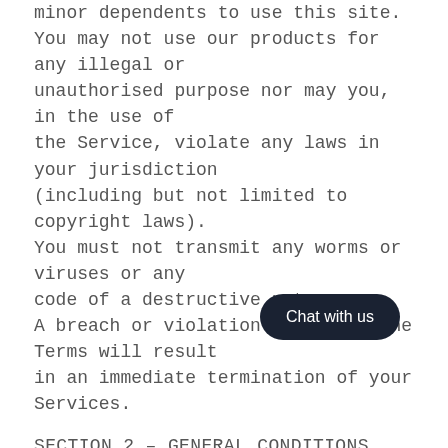minor dependents to use this site. You may not use our products for any illegal or unauthorised purpose nor may you, in the use of the Service, violate any laws in your jurisdiction (including but not limited to copyright laws). You must not transmit any worms or viruses or any code of a destructive nature. A breach or violation of any of the Terms will result in an immediate termination of your Services.
SECTION 2 - GENERAL CONDITIONS
We reserve the right to refuse service to anyone for any reason at any time. You understand that your content (not including credit card information), may be transferred unencrypted and involve (a) transmissions over
[Figure (other): Chat with us button overlay in dark navy rounded rectangle]